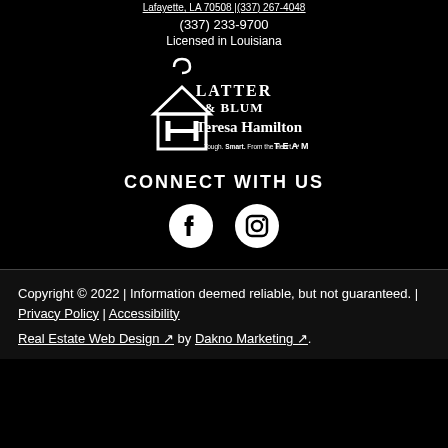Lafayette, LA 70508 | (337) 267-4048
(337) 233-9700
Licensed in Louisiana
[Figure (logo): Teresa Hamilton Team logo with Latter & Blum branding, house icon with H, tagline Tough. Smart. From the Heart.]
CONNECT WITH US
[Figure (illustration): Facebook and Instagram social media icons in white circles]
Copyright © 2022 | Information deemed reliable, but not guaranteed. | Privacy Policy | Accessibility Real Estate Web Design by Dakno Marketing.